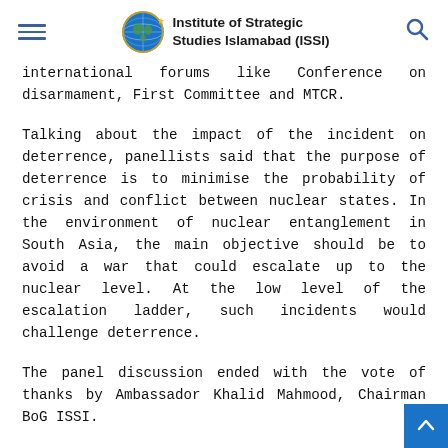Institute of Strategic Studies Islamabad (ISSI)
international forums like Conference on disarmament, First Committee and MTCR.
Talking about the impact of the incident on deterrence, panellists said that the purpose of deterrence is to minimise the probability of crisis and conflict between nuclear states. In the environment of nuclear entanglement in South Asia, the main objective should be to avoid a war that could escalate up to the nuclear level. At the low level of the escalation ladder, such incidents would challenge deterrence.
The panel discussion ended with the vote of thanks by Ambassador Khalid Mahmood, Chairman BoG ISSI.